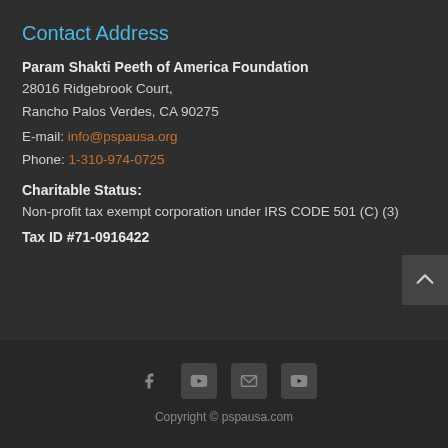Contact Address
Param Shakti Peeth of America Foundation
28016 Ridgebrook Court,
Rancho Palos Verdes, CA 90275
E-mail: info@pspausa.org
Phone: 1-310-974-0725
Charitable Status:
Non-profit tax exempt corporation under IRS CODE 501 (C) (3)
Tax ID #71-0916422
Copyright © pspausa.com